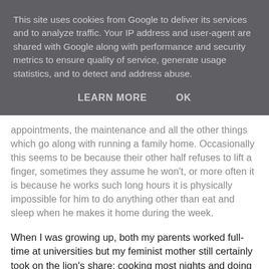This site uses cookies from Google to deliver its services and to analyze traffic. Your IP address and user-agent are shared with Google along with performance and security metrics to ensure quality of service, generate usage statistics, and to detect and address abuse.
LEARN MORE    OK
appointments, the maintenance and all the other things which go along with running a family home. Occasionally this seems to be because their other half refuses to lift a finger, sometimes they assume he won't, or more often it is because he works such long hours it is physically impossible for him to do anything other than eat and sleep when he makes it home during the week.
When I was growing up, both my parents worked full-time at universities but my feminist mother still certainly took on the lion's share; cooking most nights and doing piles of washing on the weekend. My father would attempt to keep the kitchen tidy and do the DIY, while spreading books, papers and coffee cups around the place when doing his research or marking at home. At various points we did have help